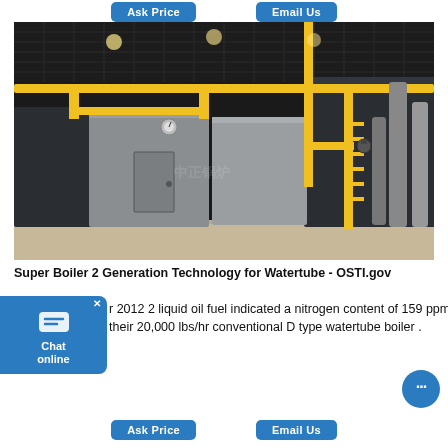Ask Price   Email Us
[Figure (photo): Industrial boiler room with large stainless steel watertube boilers, yellow structural supports and piping, dark ceiling with overhead lighting, concrete floor.]
Super Boiler 2 Generation Technology for Watertube - OSTI.gov
r 2012 2 liquid oil fuel indicated a nitrogen content of 159 ppmw is equivalent their 20,000 lbs/hr conventional D type watertube boiler .
Ask Price   Email Us